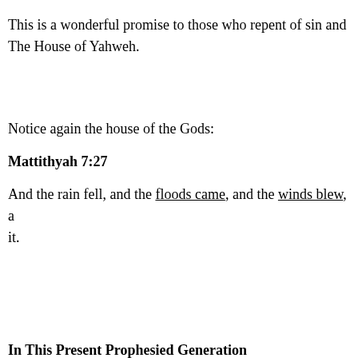This is a wonderful promise to those who repent of sin and The House of Yahweh.
Notice again the house of the Gods:
Mattithyah 7:27
And the rain fell, and the floods came, and the winds blew, a it.
In This Present Prophesied Generation